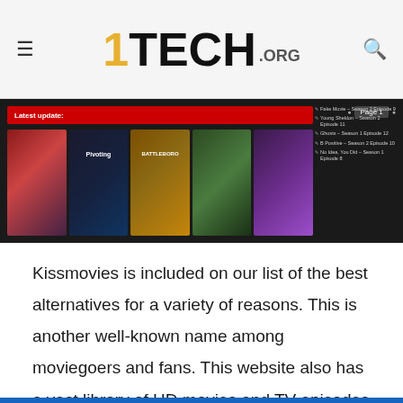1TECH.ORG
[Figure (screenshot): Screenshot of a movie streaming website showing a dark interface with movie thumbnails including 'Pivoting' and 'Battleboro', a 'Latest update' red bar, Page 1 indicator, and a sidebar listing recent TV show episodes.]
Kissmovies is included on our list of the best alternatives for a variety of reasons. This is another well-known name among moviegoers and fans. This website also has a vast library of HD movies and TV episodes that are available for free watching. Registration is also not required. This website has